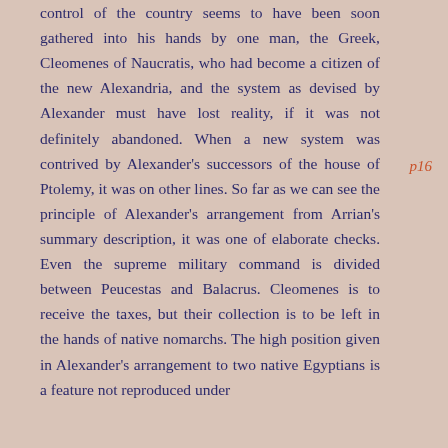control of the country seems to have been soon gathered into his hands by one man, the Greek, Cleomenes of Naucratis, who had become a citizen of the new Alexandria, and the system as devised by Alexander must have lost reality, if it was not definitely abandoned. When a new system was contrived by Alexander's successors of the house of Ptolemy, it was on other lines. So far as we can see the principle of Alexander's arrangement from Arrian's summary description, it was one of elaborate checks. Even the supreme military command is divided between Peucestas and Balacrus. Cleomenes is to receive the taxes, but their collection is to be left in the hands of native nomarchs. The high position given in Alexander's arrangement to two native Egyptians is a feature not reproduced under
p16